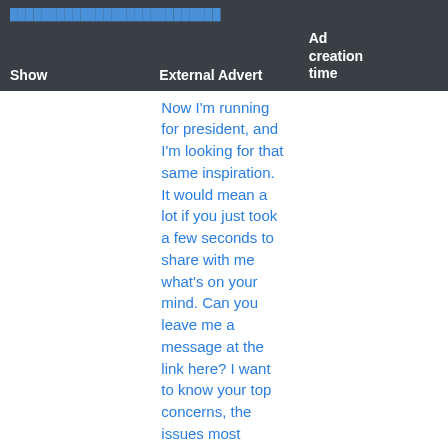| Show | External Advert | Ad creation time |
| --- | --- | --- |
|  | Now I'm running for president, and I'm looking for that same inspiration. It would mean a lot if you just took a few seconds to share with me what's on your mind. Can you leave me a message at the link here? I want to know your top concerns, the issues most important to you, and what you're looking for out of your next president. Thanks for giving me a bit of your time. - Joe |  |